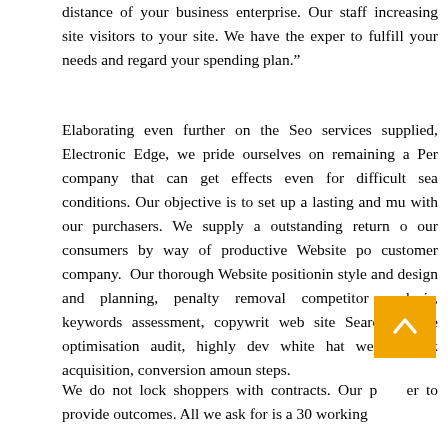distance of your business enterprise. Our staff increasing site visitors to your site. We have the exper to fulfill your needs and regard your spending plan."
Elaborating even further on the Seo services supplied, Electronic Edge, we pride ourselves on remaining a Per company that can get effects even for difficult sea conditions. Our objective is to set up a lasting and mu with our purchasers. We supply a outstanding return o our consumers by way of productive Website po customer company. Our thorough Website positionin style and design and planning, penalty removal competitor analysis, keywords assessment, copywrit web site Search engine optimisation audit, highly dev white hat website link acquisition, conversion amoun steps.
We do not lock shoppers with contracts. Our p er to provide outcomes. All we ask for is a 30 working